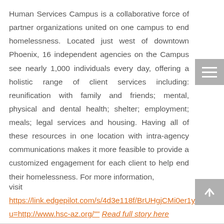Human Services Campus is a collaborative force of partner organizations united on one campus to end homelessness. Located just west of downtown Phoenix, 16 independent agencies on the Campus see nearly 1,000 individuals every day, offering a holistic range of client services including: reunification with family and friends; mental, physical and dental health; shelter; employment; meals; legal services and housing. Having all of these resources in one location with intra-agency communications makes it more feasible to provide a customized engagement for each client to help end their homelessness. For more information, visit https://link.edgepilot.com/s/4d3e118f/BrUHgjCMi0er1yGBZQLe... u=http://www.hsc-az.org/"" Read full story here